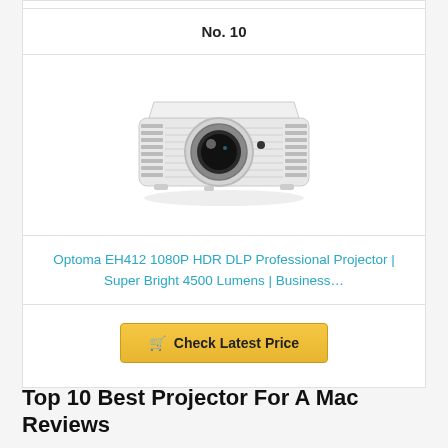No. 10
[Figure (photo): Optoma EH412 projector – white/silver DLP projector with lens visible from front-left angle]
Optoma EH412 1080P HDR DLP Professional Projector | Super Bright 4500 Lumens | Business…
Check Latest Price
Top 10 Best Projector For A Mac Reviews